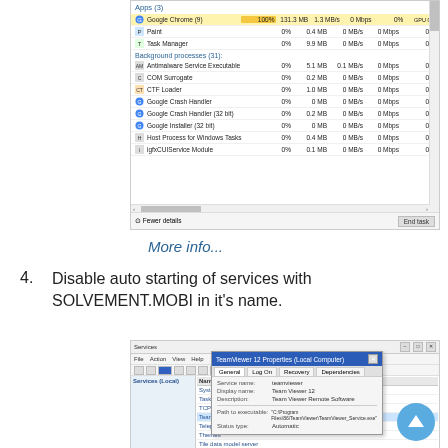[Figure (screenshot): Windows Task Manager screenshot showing Apps (3) section with Google Chrome (9) highlighted at 100% CPU, 131.3 MB, 1.3 MB/s, 0 Mbps, 0% GPU. Paint and Task Manager also listed. Background processes (31) section shows Antimalware Service Executable, COM Surrogate, CTF Loader, Google Crash Handler, Google Crash Handler (32 bit), Google Installer (32 bit), Host Process for Windows Tasks, igfxCUIService Module. Footer has Fewer details and End task button.]
More info...
4.  Disable auto starting of services with SOLVEMENT.MOBI in it's name.
[Figure (screenshot): Windows Services window showing a list of services with TeamViewer 12 selected (highlighted in blue). A dialog box titled TeamViewer 12 Properties (Local Computer) is open with General, Log On, Recovery, Dependencies tabs. Fields show Service name: teamviewer, Display name: Team Viewer 12, Description: Team Viewer Remote Software, Path to executable, Status type: Automatic. A blue scroll-to-top button is visible in the bottom right.]